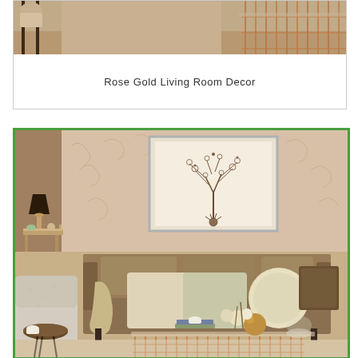[Figure (photo): Rose gold living room decor image showing a copper wire coffee table or side table with geometric design, cropped to show only the top portion with rose gold metallic legs against a neutral background]
Rose Gold Living Room Decor
[Figure (photo): A stylish living room with rose gold and warm brown tones: a taupe/mocha sofa with gold and cream cushions and a round velvet cushion, a botanical framed print on a blush floral wallpaper wall, a copper wire geometric coffee table, a dark lamp with round base, a grey textured armchair, a small round black side table, and various decorative objects including gold sphere, candle dome, and white flowers. Green border around image.]